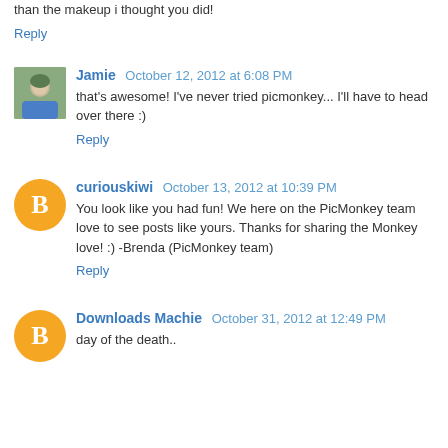than the makeup i thought you did!
Reply
Jamie  October 12, 2012 at 6:08 PM
that's awesome! I've never tried picmonkey... I'll have to head over there :)
Reply
curiouskiwi  October 13, 2012 at 10:39 PM
You look like you had fun! We here on the PicMonkey team love to see posts like yours. Thanks for sharing the Monkey love! :) -Brenda (PicMonkey team)
Reply
Downloads Machie  October 31, 2012 at 12:49 PM
day of the death..